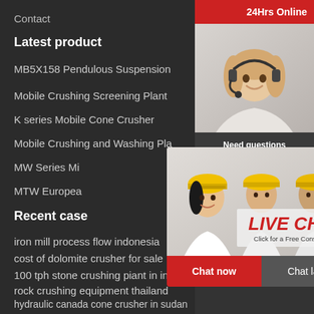Contact
Latest product
MB5X158 Pendulous Suspension
Mobile Crushing Screening Plant
K series Mobile Cone Crusher
Mobile Crushing and Washing Pla
MW Series Mi
MTW Europea
Recent case
iron mill process flow indonesia
cost of dolomite crusher for sale
100 tph stone crushing piant in india
rock crushing equipment thailand
hydraulic canada cone crusher in sudan
constructing ballast crusher in kenya
[Figure (screenshot): Live chat popup overlay with workers in hard hats, LIVE CHAT text in red italic, Click for a Free Consultation text, Chat now (red) and Chat later buttons]
[Figure (photo): Right sidebar showing 24Hrs Online label, customer service woman with headset photo, Need questions & suggestion? text, Chat Now button, Enquiry bar, and limingjlmofen text]